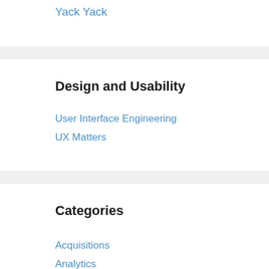Yack Yack
Design and Usability
User Interface Engineering
UX Matters
Categories
Acquisitions
Analytics